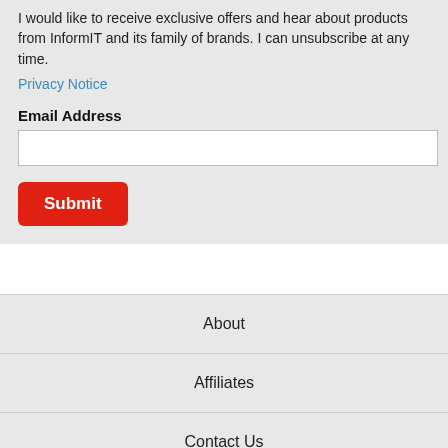I would like to receive exclusive offers and hear about products from InformIT and its family of brands. I can unsubscribe at any time.
Privacy Notice
Email Address
Submit
About
Affiliates
Contact Us
FAQ